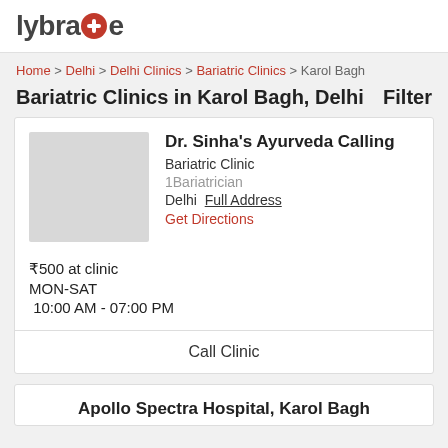lybrate
Home > Delhi > Delhi Clinics > Bariatric Clinics > Karol Bagh
Bariatric Clinics in Karol Bagh, Delhi
Filter
Dr. Sinha's Ayurveda Calling
Bariatric Clinic
1Bariatrician
Delhi  Full Address
Get Directions
₹500 at clinic
MON-SAT
10:00 AM - 07:00 PM
Call Clinic
Apollo Spectra Hospital, Karol Bagh